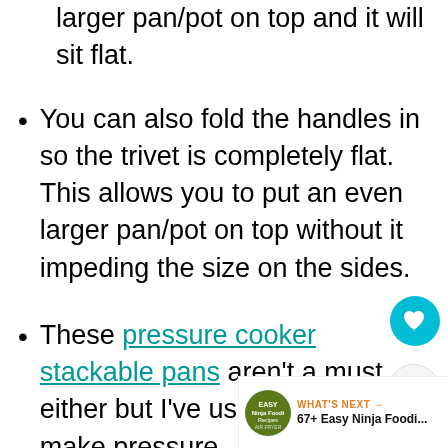larger pan/pot on top and it will sit flat.
You can also fold the handles in so the trivet is completely flat. This allows you to put an even larger pan/pot on top without it impeding the size on the sides.
These pressure cooker stackable pans aren't a must either but I've used them to make pressure [cooker] fish with vegetables at the same time.